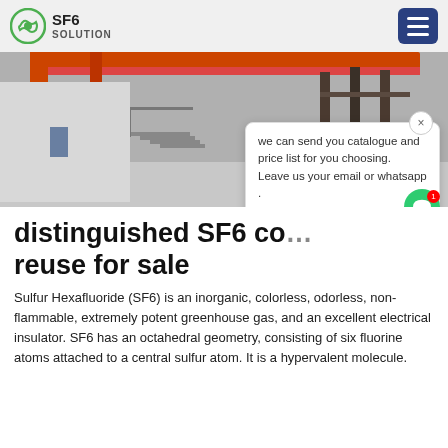SF6 SOLUTION
[Figure (photo): Industrial warehouse or factory interior with orange overhead crane structure and metal shelving/racks, with partial text 'ina' visible on right side]
distinguished SF6 co... reuse for sale
Sulfur Hexafluoride (SF6) is an inorganic, colorless, odorless, non-flammable, extremely potent greenhouse gas, and an excellent electrical insulator. SF6 has an octahedral geometry, consisting of six fluorine atoms attached to a central sulfur atom. It is a hypervalent molecule.